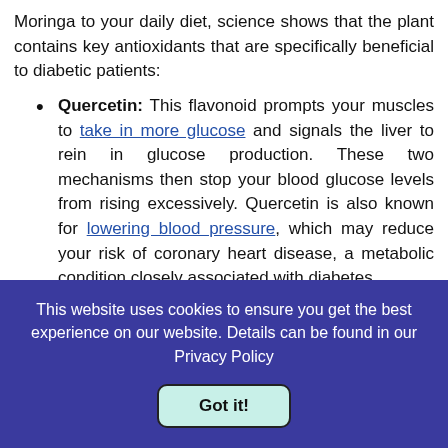Moringa to your daily diet, science shows that the plant contains key antioxidants that are specifically beneficial to diabetic patients:
Quercetin: This flavonoid prompts your muscles to take in more glucose and signals the liver to rein in glucose production. These two mechanisms then stop your blood glucose levels from rising excessively. Quercetin is also known for lowering blood pressure, which may reduce your risk of coronary heart disease, a metabolic condition closely associated with diabetes.
Chlorogenic acid: This phenolic acid (incidentally present in brewed coffee) stops your intestine from absorbing glucose after a meal. Rat models show that chlorogenic acid downplayed blood glucose levels, and may be a
This website uses cookies to ensure you get the best experience on our website. Details can be found in our Privacy Policy
Got it!